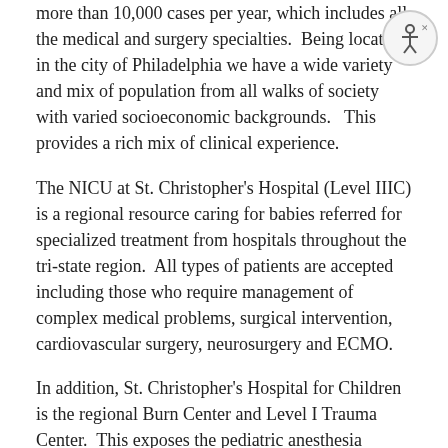more than 10,000 cases per year, which includes all the medical and surgery specialties.  Being located in the city of Philadelphia we have a wide variety and mix of population from all walks of society with varied socioeconomic backgrounds.   This provides a rich mix of clinical experience.
The NICU at St. Christopher's Hospital (Level IIIC) is a regional resource caring for babies referred for specialized treatment from hospitals throughout the tri-state region.  All types of patients are accepted including those who require management of complex medical problems, surgical intervention, cardiovascular surgery, neurosurgery and ECMO.
In addition, St. Christopher's Hospital for Children is the regional Burn Center and Level I Trauma Center.  This exposes the pediatric anesthesia fellows to the intraoperative and postoperative management of infants